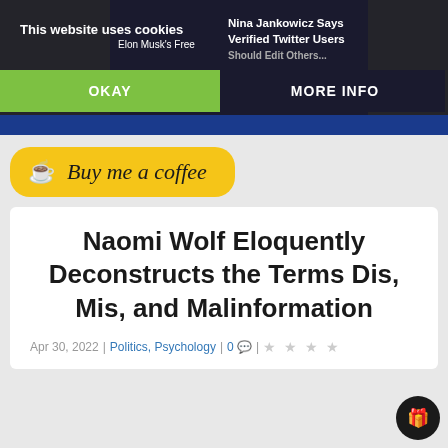[Figure (screenshot): Cookie consent banner overlay on a dark background showing two article thumbnails with text, an OKAY green button and MORE INFO button]
[Figure (illustration): Yellow rounded Buy me a coffee button with coffee cup icon and cursive text]
Naomi Wolf Eloquently Deconstructs the Terms Dis, Mis, and Malinformation
Apr 30, 2022 | Politics, Psychology | 0 💬 | ★★★★★